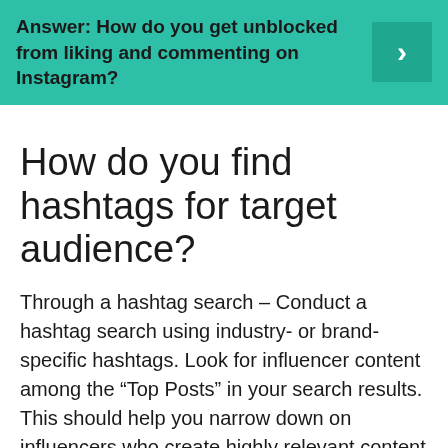[Figure (other): Teal/green banner with bold text 'Answer: How do you get unblocked from liking and commenting on Instagram?' and a right-arrow chevron button on the right side]
How do you find hashtags for target audience?
Through a hashtag search – Conduct a hashtag search using industry- or brand-specific hashtags. Look for influencer content among the “Top Posts” in your search results. This should help you narrow down on influencers who create highly relevant content in your niche.
How do you get 100 followers a day?